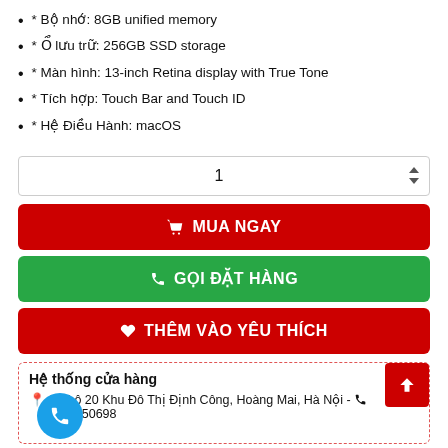* Bộ nhớ: 8GB unified memory
* Ổ lưu trữ: 256GB SSD storage
* Màn hình: 13-inch Retina display with True Tone
* Tích hợp: Touch Bar and Touch ID
* Hệ Điều Hành: macOS
1 (quantity selector)
🛒 MUA NGAY
📞 GỌI ĐẶT HÀNG
❤ THÊM VÀO YÊU THÍCH
Hệ thống cửa hàng
C2 Lô 20 Khu Đô Thị Định Công, Hoàng Mai, Hà Nội - 0333050698
Mô tả